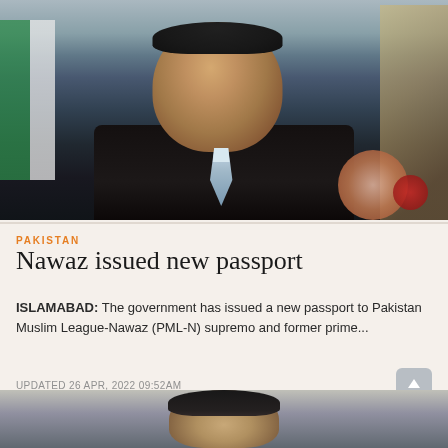[Figure (photo): Portrait photo of Nawaz Sharif in a dark suit with light blue tie, Pakistani flag visible in background]
PAKISTAN
Nawaz issued new passport
ISLAMABAD: The government has issued a new passport to Pakistan Muslim League-Nawaz (PML-N) supremo and former prime...
UPDATED 26 APR, 2022 09:52AM
[Figure (photo): Partial photo of another person, cropped at bottom of page]